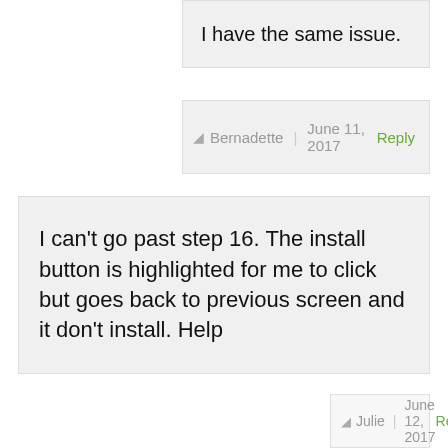I have the same issue.
Bernadette | June 11, 2017  Reply
I can’t go past step 16. The install button is highlighted for me to click but goes back to previous screen and it don’t install. Help
Julie | June 12, 2017  Reply
Same problem here
T.S. | June 11, 2017  Reply